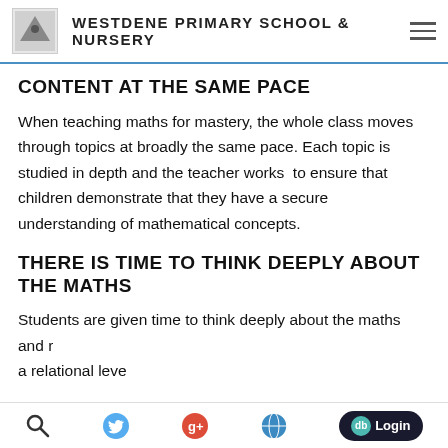WESTDENE PRIMARY SCHOOL & NURSERY
CONTENT AT THE SAME PACE
When teaching maths for mastery, the whole class moves through topics at broadly the same pace. Each topic is studied in depth and the teacher works  to ensure that children demonstrate that they have a secure understanding of mathematical concepts.
THERE IS TIME TO THINK DEEPLY ABOUT THE MATHS
Students are given time to think deeply about the maths and r…  a relational leve…